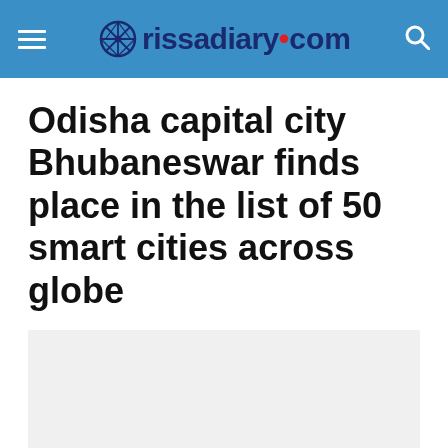orissadiary.com
Odisha capital city Bhubaneswar finds place in the list of 50 smart cities across globe
[Figure (other): Light gray placeholder image/advertisement block below the article title]